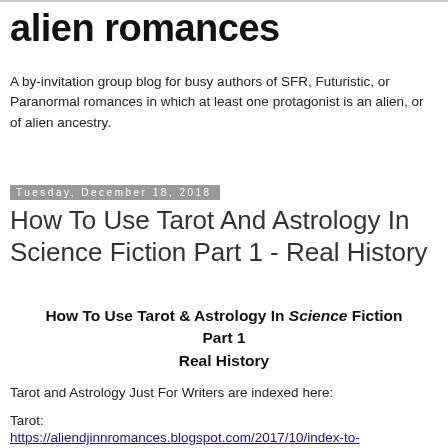alien romances
A by-invitation group blog for busy authors of SFR, Futuristic, or Paranormal romances in which at least one protagonist is an alien, or of alien ancestry.
Tuesday, December 18, 2018
How To Use Tarot And Astrology In Science Fiction Part 1 - Real History
How To Use Tarot & Astrology In Science Fiction Part 1
Real History
Tarot and Astrology Just For Writers are indexed here:
Tarot:
https://aliendjinnromances.blogspot.com/2017/10/index-to-